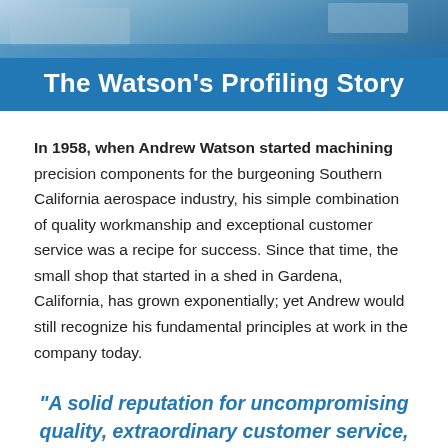[Figure (photo): Aerial or industrial photo at top of page showing manufacturing/machining environment]
The Watson's Profiling Story
In 1958, when Andrew Watson started machining precision components for the burgeoning Southern California aerospace industry, his simple combination of quality workmanship and exceptional customer service was a recipe for success. Since that time, the small shop that started in a shed in Gardena, California, has grown exponentially; yet Andrew would still recognize his fundamental principles at work in the company today.
"A solid reputation for uncompromising quality, extraordinary customer service, and quick, dependable deliveries."